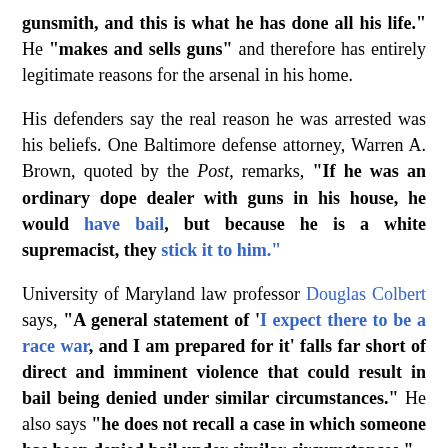Mr. Wheeler, say his lawyers, is a machinist, a gunsmith, and this is what he has done all his life." He "makes and sells guns" and therefore has entirely legitimate reasons for the arsenal in his home.
His defenders say the real reason he was arrested was his beliefs. One Baltimore defense attorney, Warren A. Brown, quoted by the Post, remarks, "If he was an ordinary dope dealer with guns in his house, he would have bail, but because he is a white supremacist, they stick it to him."
University of Maryland law professor Douglas Colbert says, "A general statement of 'I expect there to be a race war, and I am prepared for it' falls far short of direct and imminent violence that could result in bail being denied under similar circumstances." He also says "he does not recall a case in which someone has been denied bail under similar circumstances."